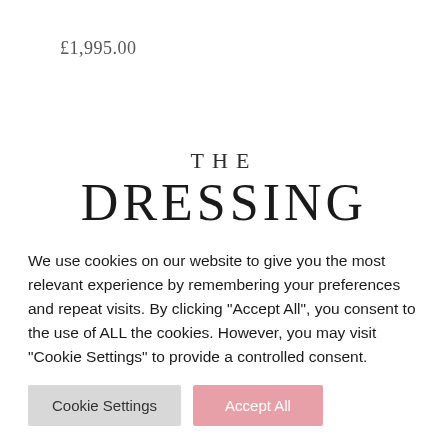£1,995.00
[Figure (logo): The Dressing Rooms TDR Bridal Birmingham logo with large serif text]
TDR Bridal has been named Best Bridal Boutique
year after year in national wedding industry awards
We use cookies on our website to give you the most relevant experience by remembering your preferences and repeat visits. By clicking "Accept All", you consent to the use of ALL the cookies. However, you may visit "Cookie Settings" to provide a controlled consent.
Cookie Settings
Accept All